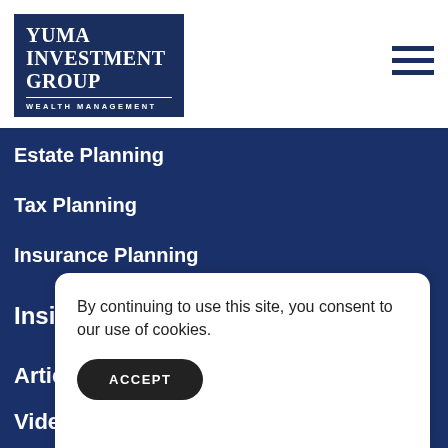[Figure (logo): Yuma Investment Group Wealth Management logo — white text on dark navy blue rectangle with 'YUMA INVESTMENT GROUP' in large serif bold and 'WEALTH MANAGEMENT' in small spaced caps below a dividing line]
[Figure (other): Hamburger menu icon — three horizontal dark navy lines]
Estate Planning
Tax Planning
Insurance Planning
Insights
Articles
Videos
In
Gu
Gl
By continuing to use this site, you consent to our use of cookies.
ACCEPT